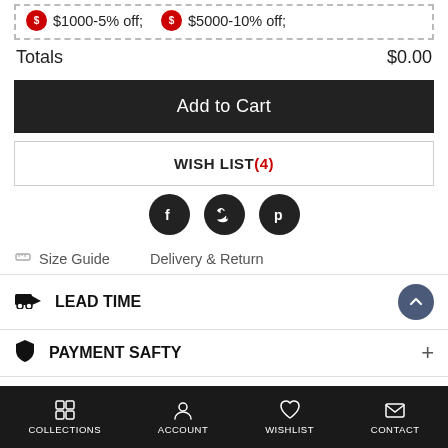$1000-5% off;   $5000-10% off;
Totals   $0.00
Add to Cart
WISH LIST(4)
[Figure (other): Social media icons: Facebook, Twitter, Pinterest]
Size Guide   Delivery & Return
LEAD TIME
PAYMENT SAFTY
RETURN
COLLECTIONS   ACCOUNT   WISHLIST   CONTACT